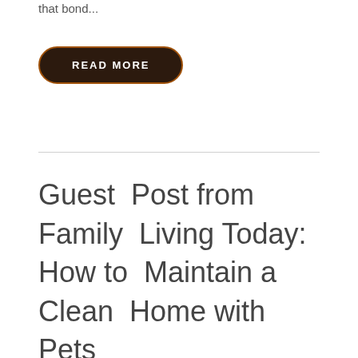that bond...
READ MORE
Guest Post from Family Living Today: How to Maintain a Clean Home with Pets